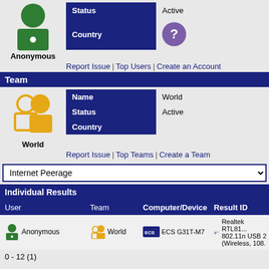[Figure (illustration): Anonymous user avatar: green circle head and green rectangle body with white dot]
Anonymous
| Field | Value |
| --- | --- |
| Status | Active |
| Country | ? |
Report Issue | Top Users | Create an Account
Team
[Figure (illustration): Team icon: two figures in gold/yellow]
World
| Field | Value |
| --- | --- |
| Name | World |
| Status | Active |
| Country |  |
Report Issue | Top Teams | Create a Team
Internet Peerage
Individual Results
| User | Team | Computer/Device | Result ID |
| --- | --- | --- | --- |
| Anonymous | World | ECS G31T-M7 | Realtek RTL81... 802.11n USB 2 (Wireless, 108. |
0 - 12 (1)
News | Reviews | Privacy | Licence | Contact
All trademarks acknowledged. Used for identification only under fair use. E.
© SiSoftware 1995-Present. All Rights Reserved. Original (British) Eng